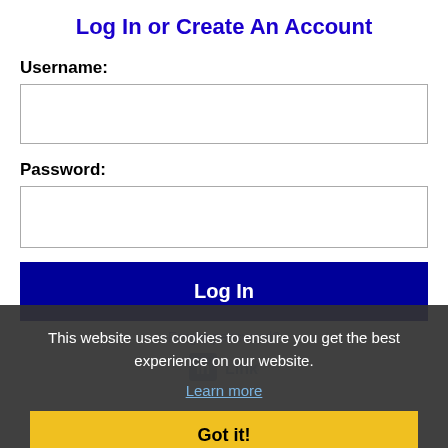Log In or Create An Account
Username:
Password:
Log In
Forgot password?
[Figure (logo): LinkedIn logo]
This website uses cookies to ensure you get the best experience on our website.
Learn more
Got it!
Get the latest South Carolina jobs by following @recnetSC on Twitter!